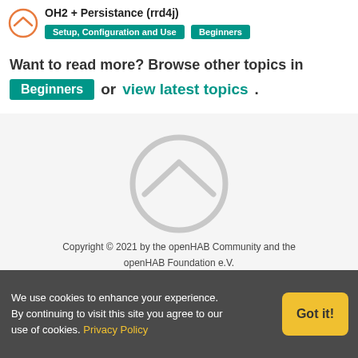OH2 + Persistance (rrd4j)
Setup, Configuration and Use | Beginners
Want to read more? Browse other topics in Beginners or view latest topics.
[Figure (logo): openHAB logo - circle with chevron, large gray watermark in center of page]
Copyright © 2021 by the openHAB Community and the openHAB Foundation e.V.
Privacy policy | Imprint
[Figure (illustration): Social media icons: Twitter, email/newsletter, YouTube, partially visible]
We use cookies to enhance your experience. By continuing to visit this site you agree to our use of cookies. Privacy Policy